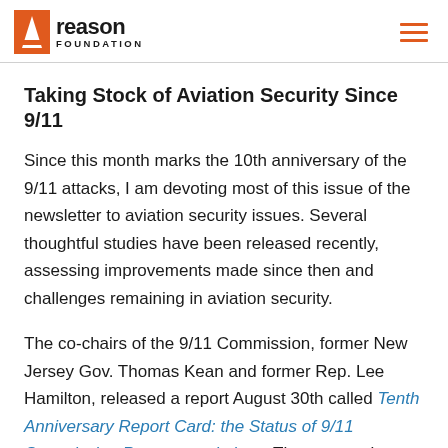reason FOUNDATION
Taking Stock of Aviation Security Since 9/11
Since this month marks the 10th anniversary of the 9/11 attacks, I am devoting most of this issue of the newsletter to aviation security issues. Several thoughtful studies have been released recently, assessing improvements made since then and challenges remaining in aviation security.
The co-chairs of the 9/11 Commission, former New Jersey Gov. Thomas Kean and former Rep. Lee Hamilton, released a report August 30th called Tenth Anniversary Report Card: the Status of 9/11 Commission Recommendations. The report takes a broad-brush approach, with transportation security